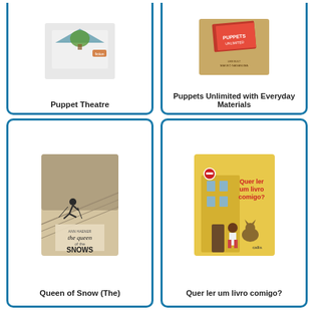[Figure (illustration): Book cover for Puppet Theatre, shown partially cropped at top]
Puppet Theatre
[Figure (illustration): Book cover for Puppets Unlimited with Everyday Materials, tan/brown colored cover]
Puppets Unlimited with Everyday Materials
[Figure (illustration): Book cover for The Queen of Snows, showing a skier on a slope]
Queen of Snow (The)
[Figure (illustration): Book cover for Quer ler um livro comigo?, yellow cover with a child and a cat]
Quer ler um livro comigo?